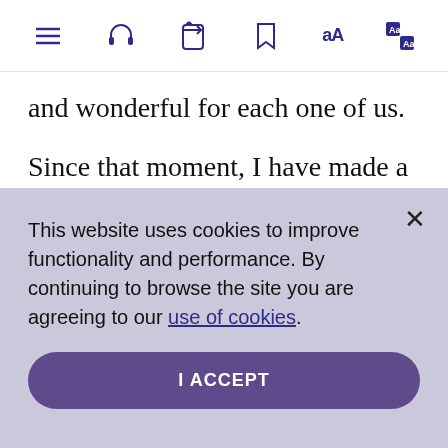[toolbar with icons: menu, headphones, share, bookmark, text-size, translate]
and wonderful for each one of us.
Since that moment, I have made a habit of asking God to show me more of what He, She is. My prayers go something like this:
This website uses cookies to improve functionality and performance. By continuing to browse the site you are agreeing to our use of cookies.
I ACCEPT